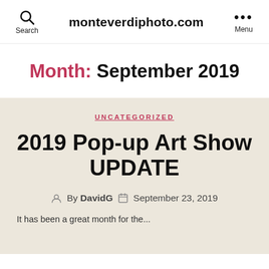monteverdiphoto.com
Month: September 2019
UNCATEGORIZED
2019 Pop-up Art Show UPDATE
By DavidG  September 23, 2019
It has been a great month for...